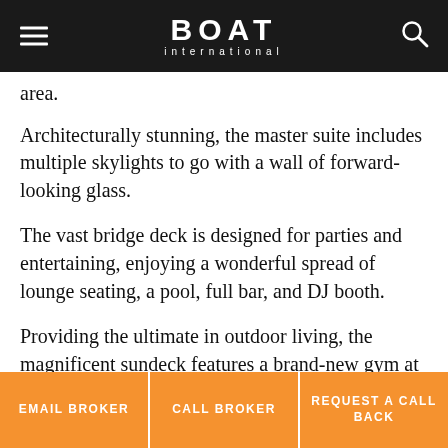BOAT International
area.
Architecturally stunning, the master suite includes multiple skylights to go with a wall of forward-looking glass.
The vast bridge deck is designed for parties and entertaining, enjoying a wonderful spread of lounge seating, a pool, full bar, and DJ booth.
Providing the ultimate in outdoor living, the magnificent sundeck features a brand-new gym at its centre, with a Jacuzzi and sunpads forward, and a fleet of loungers aft.
EMAIL BROKER | CALL BROKER | REQUEST A CALL BACK